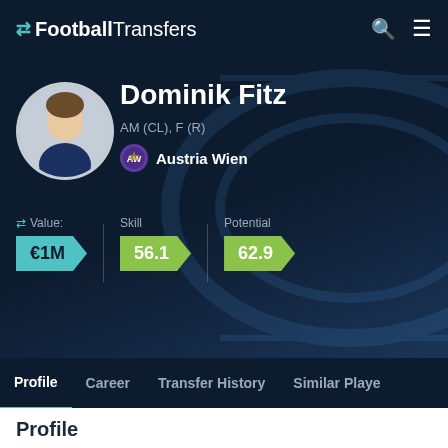FootballTransfers
Dominik Fitz
AM (CL), F (R)
Austria Wien
Value: €1M  Skill 56.1  Potential 62.9
Profile | Career | Transfer History | Similar Players
Profile
Age
23 years old (17 Jun 1999)
Nationality
AUT
Best Playing Role
Advanced playmaker